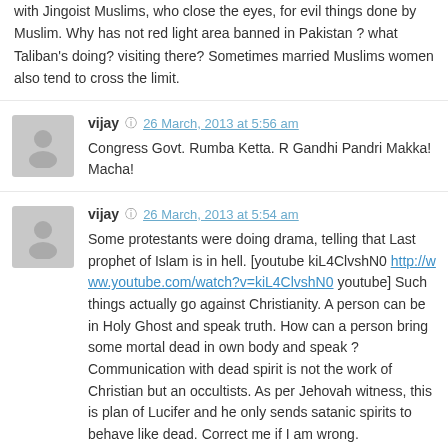with Jingoist Muslims, who close the eyes, for evil things done by Muslim. Why has not red light area banned in Pakistan ? what Taliban's doing? visiting there? Sometimes married Muslims women also tend to cross the limit.
vijay  26 March, 2013 at 5:56 am
Congress Govt. Rumba Ketta. R Gandhi Pandri Makka! Macha!
vijay  26 March, 2013 at 5:54 am
Some protestants were doing drama, telling that Last prophet of Islam is in hell. [youtube kiL4ClvshN0 http://www.youtube.com/watch?v=kiL4ClvshN0 youtube] Such things actually go against Christianity. A person can be in Holy Ghost and speak truth. How can a person bring some mortal dead in own body and speak ? Communication with dead spirit is not the work of Christian but an occultists. As per Jehovah witness, this is plan of Lucifer and he only sends satanic spirits to behave like dead. Correct me if I am wrong.